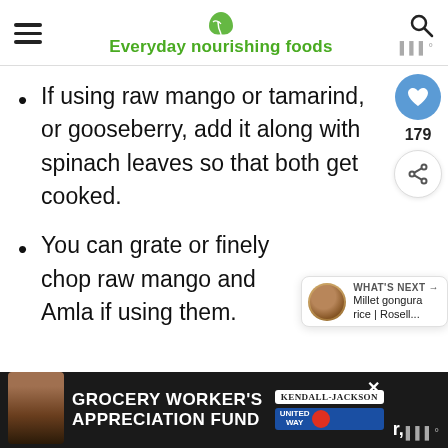Everyday nourishing foods
If using raw mango or tamarind, or gooseberry, add it along with spinach leaves so that both get cooked.
You can grate or finely chop raw mango and Amla if using them.
[Figure (screenshot): Social sharing sidebar with heart/like button showing 179 likes and a share button]
[Figure (screenshot): What's Next overlay showing Millet gongura rice | Rosell... with a thumbnail of a round fruit]
GROCERY WORKER'S APPRECIATION FUND — Kendall-Jackson — United Way advertisement